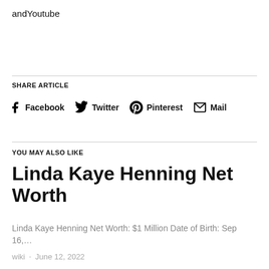andYoutube
SHARE ARTICLE
Facebook  Twitter  Pinterest  Mail
YOU MAY ALSO LIKE
Linda Kaye Henning Net Worth
Linda Kaye Henning Net Worth: $1 Million Date of Birth: Sep 16,…
wiki · June 12, 2022